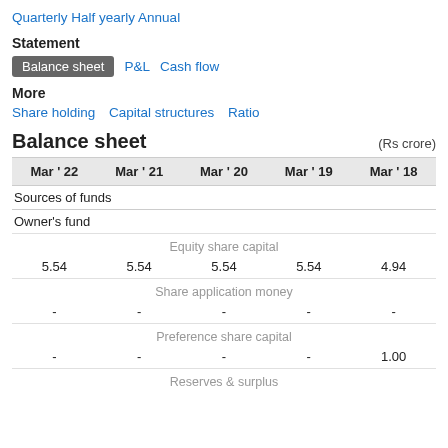Quarterly  Half yearly  Annual
Statement
Balance sheet  P&L  Cash flow
More
Share holding  Capital structures  Ratio
Balance sheet
(Rs crore)
| Mar ' 22 | Mar ' 21 | Mar ' 20 | Mar ' 19 | Mar ' 18 |
| --- | --- | --- | --- | --- |
| Sources of funds |  |  |  |  |
| Owner's fund |  |  |  |  |
| Equity share capital |  |  |  |  |
| 5.54 | 5.54 | 5.54 | 5.54 | 4.94 |
| Share application money |  |  |  |  |
| - | - | - | - | - |
| Preference share capital |  |  |  |  |
| - | - | - | - | 1.00 |
| Reserves & surplus |  |  |  |  |